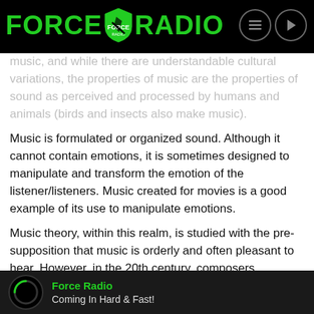FORCE RADIO
music, and while there are understandable cultural variations, the properties of music are the properties of sound as perceived and processed by humans and animals (birds and insects also make music).
Music is formulated or organized sound. Although it cannot contain emotions, it is sometimes designed to manipulate and transform the emotion of the listener/listeners. Music created for movies is a good example of its use to manipulate emotions.
Music theory, within this realm, is studied with the presupposition that music is orderly and often pleasant to hear. However, in the 20th century, composers challenged the notion that music had to be pleasant by creating music that explored harsher, darker timbres.
Force Radio
Coming In Hard & Fast!